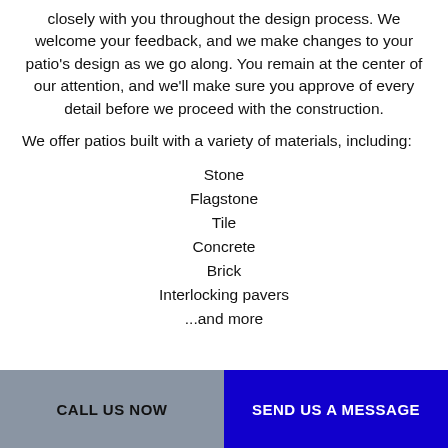closely with you throughout the design process. We welcome your feedback, and we make changes to your patio's design as we go along. You remain at the center of our attention, and we'll make sure you approve of every detail before we proceed with the construction.
We offer patios built with a variety of materials, including:
Stone
Flagstone
Tile
Concrete
Brick
Interlocking pavers
...and more
CALL US NOW | SEND US A MESSAGE